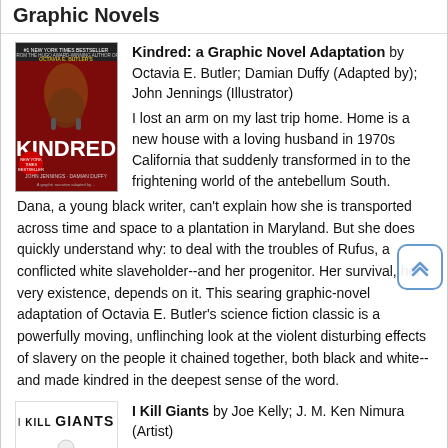Graphic Novels
[Figure (photo): Book cover of Kindred: a Graphic Novel Adaptation — red background with chained hands]
Kindred: a Graphic Novel Adaptation by Octavia E. Butler; Damian Duffy (Adapted by); John Jennings (Illustrator)
I lost an arm on my last trip home. Home is a new house with a loving husband in 1970s California that suddenly transformed in to the frightening world of the antebellum South. Dana, a young black writer, can't explain how she is transported across time and space to a plantation in Maryland. But she does quickly understand why: to deal with the troubles of Rufus, a conflicted white slaveholder--and her progenitor. Her survival, her very existence, depends on it. This searing graphic-novel adaptation of Octavia E. Butler's science fiction classic is a powerfully moving, unflinching look at the violent disturbing effects of slavery on the people it chained together, both black and white--and made kindred in the deepest sense of the word.
[Figure (photo): Book cover of I Kill Giants — white background with black and red text]
I Kill Giants by Joe Kelly; J. M. Ken Nimura (Artist)
Barbara Thorson, a girl battling monsters both